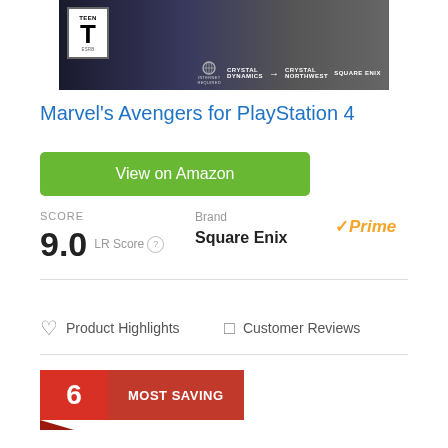[Figure (photo): Marvel's Avengers game box art for PlayStation 4 showing TEEN ESRB rating, Crystal Dynamics, Square Enix publisher logos on dark background]
Marvel's Avengers for PlayStation 4
View on Amazon
SCORE
9.0  LR Score
Brand
Square Enix
Prime
Product Highlights   Customer Reviews
6  MOST SAVING